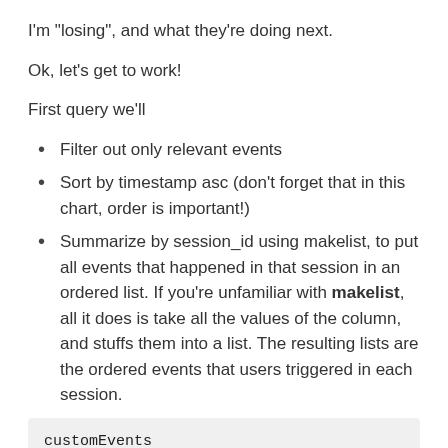I'm “losing”, and what they’re doing next.
Ok, let’s get to work!
First query we’ll
Filter out only relevant events
Sort by timestamp asc (don’t forget that in this chart, order is important!)
Summarize by session_id using makelist, to put all events that happened in that session in an ordered list. If you’re unfamiliar with makelist, all it does is take all the values of the column, and stuffs them into a list. The resulting lists are the ordered events that users triggered in each session.
customEvents
| where timestamp > ago(7d)